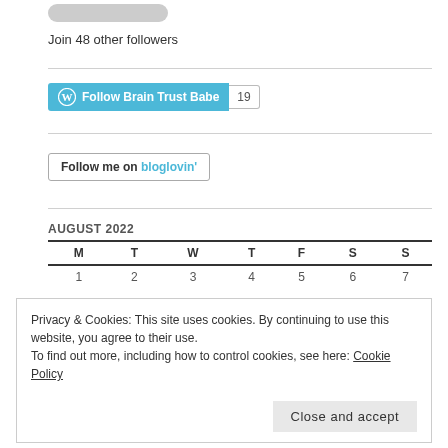[Figure (screenshot): Rounded pill-shaped button at top]
Join 48 other followers
[Figure (other): WordPress Follow Brain Trust Babe button with count 19]
[Figure (other): Follow me on bloglovin' button]
AUGUST 2022
| M | T | W | T | F | S | S |
| --- | --- | --- | --- | --- | --- | --- |
| 1 | 2 | 3 | 4 | 5 | 6 | 7 |
Privacy & Cookies: This site uses cookies. By continuing to use this website, you agree to their use.
To find out more, including how to control cookies, see here: Cookie Policy
Close and accept